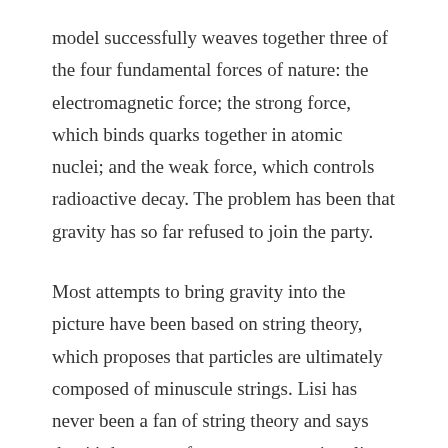model successfully weaves together three of the four fundamental forces of nature: the electromagnetic force; the strong force, which binds quarks together in atomic nuclei; and the weak force, which controls radioactive decay. The problem has been that gravity has so far refused to join the party.
Most attempts to bring gravity into the picture have been based on string theory, which proposes that particles are ultimately composed of minuscule strings. Lisi has never been a fan of string theory and says that it's because of pressure to step into line that he abandoned academia after his PhD. "I've never been much of a follower, so I walked off to search for my own theory," he says. Last year, he won a research grant from